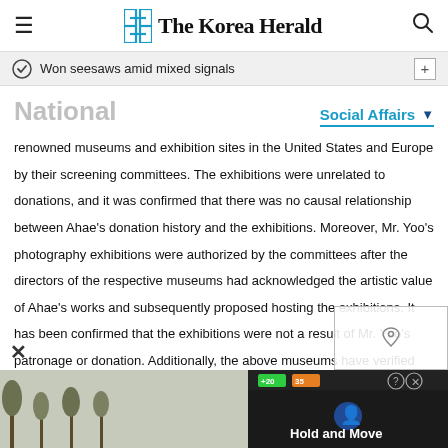The Korea Herald
Won seesaws amid mixed signals
National
Social Affairs
renowned museums and exhibition sites in the United States and Europe by their screening committees. The exhibitions were unrelated to donations, and it was confirmed that there was no causal relationship between Ahae's donation history and the exhibitions. Moreover, Mr. Yoo's photography exhibitions were authorized by the committees after the directors of the respective museums had acknowledged the artistic value of Ahae's works and subsequently proposed hosting the exhibitions. It has been confirmed that the exhibitions were not a result of Mr. Yoo's patronage or donation. Additionally, the above museums have verified that an exhibition can never be authorized unless the artistic value of an artist's works is recognized by the screening committees.